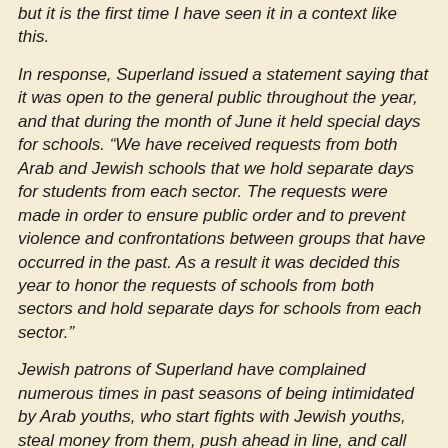but it is the first time I have seen it in a context like this.
In response, Superland issued a statement saying that it was open to the general public throughout the year, and that during the month of June it held special days for schools. “We have received requests from both Arab and Jewish schools that we hold separate days for students from each sector. The requests were made in order to ensure public order and to prevent violence and confrontations between groups that have occurred in the past. As a result it was decided this year to honor the requests of schools from both sectors and hold separate days for schools from each sector.”
Jewish patrons of Superland have complained numerous times in past seasons of being intimidated by Arab youths, who start fights with Jewish youths, steal money from them, push ahead in line, and call out anti-Semitic slogans. There have been confrontations between student groups from Arab and Jewish schools in past seasons as well.
Mitzna called on Education Minister Shai Piron to ban visits